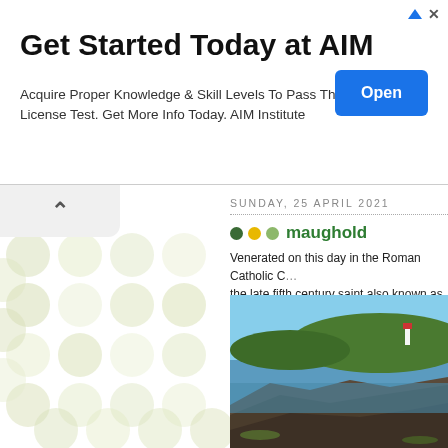[Figure (other): Advertisement banner for AIM Institute with title 'Get Started Today at AIM', body text, and blue Open button]
Get Started Today at AIM
Acquire Proper Knowledge & Skill Levels To Pass The A&P License Test. Get More Info Today. AIM Institute
[Figure (photo): Coastal landscape photograph showing rocky shoreline, green headland with lighthouse, calm blue sea and sky]
SUNDAY, 25 APRIL 2021
maughold
Venerated on this day in the Roman Catholic C… the late fifth century saint also known as Mawg… Isle of Man, was an Irish princeling of sorts and freebooters who frequently derided Patrick and…